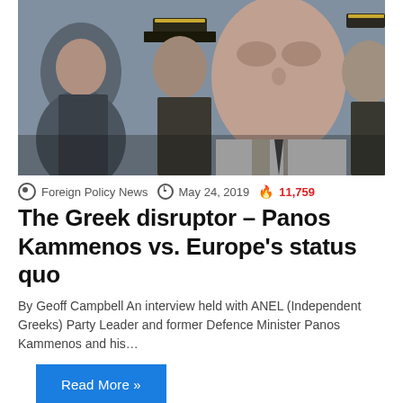[Figure (photo): Group of men in military uniforms and suits, close-up portrait style photo, appears to be political/military figures]
Foreign Policy News  May 24, 2019  11,759
The Greek disruptor – Panos Kammenos vs. Europe's status quo
By Geoff Campbell An interview held with ANEL (Independent Greeks) Party Leader and former Defence Minister Panos Kammenos and his...
Read More »
[Figure (photo): Group of people at what appears to be a formal diplomatic or political event, partial view at bottom of page]